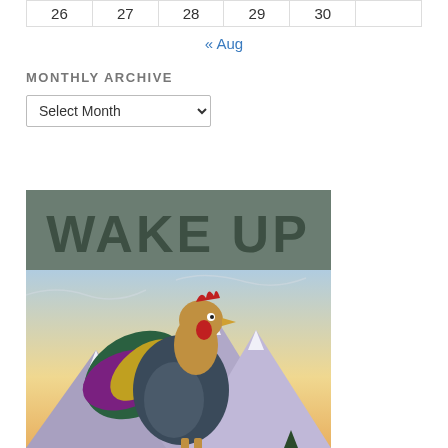| 26 | 27 | 28 | 29 | 30 |  |
| --- | --- | --- | --- | --- | --- |
« Aug
MONTHLY ARCHIVE
Select Month
[Figure (illustration): Vintage-style poster illustration showing a colorful rooster crowing at sunrise in the mountains, with 'WAKE UP' text in large bold letters on a teal/grey banner at the top.]